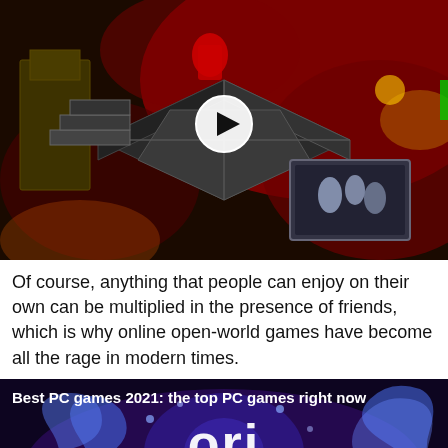[Figure (screenshot): Isometric dark video game scene with red lighting, architectural structures, and a play button overlay in the center]
Of course, anything that people can enjoy on their own can be multiplied in the presence of friends, which is why online open-world games have become all the rage in modern times.
[Figure (screenshot): Best PC games 2021: the top PC games right now - Ori and the Will of the Wisps game artwork with purple/blue magical wisps and a play button overlay]